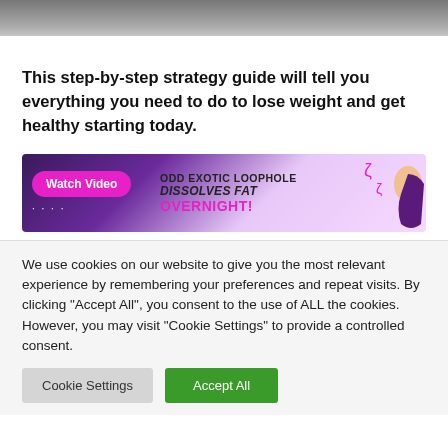[Figure (photo): Grayscale header image, partial view of a building or architectural element]
This step-by-step strategy guide will tell you everything you need to do to lose weight and get healthy starting today.
[Figure (infographic): Advertisement banner: Watch Video button, ODD EXOTIC LOOPHOLE DISSOLVES FAT OVERNIGHT! with illustrated figure]
We use cookies on our website to give you the most relevant experience by remembering your preferences and repeat visits. By clicking "Accept All", you consent to the use of ALL the cookies. However, you may visit "Cookie Settings" to provide a controlled consent.
Cookie Settings  Accept All